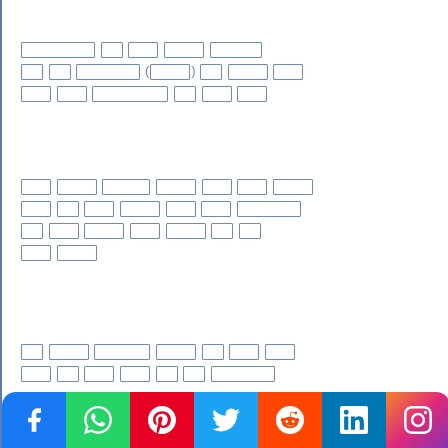[Redacted text in non-Latin script - appears to be Hindi/Devanagari - with redacted boxes throughout three paragraphs]
[Figure (infographic): Social media sharing bar with icons: Facebook (blue), WhatsApp (green), Pinterest (red), Twitter (blue), Reddit (orange-red), LinkedIn (blue), Instagram (gradient)]